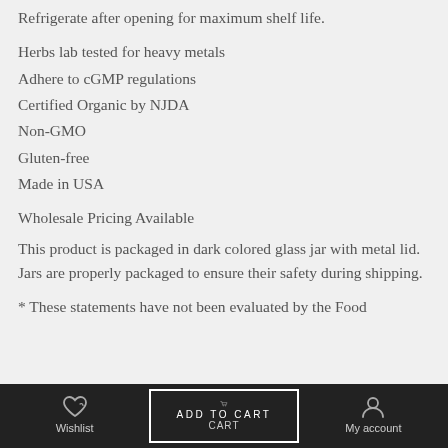Refrigerate after opening for maximum shelf life.
Herbs lab tested for heavy metals
Adhere to cGMP regulations
Certified Organic by NJDA
Non-GMO
Gluten-free
Made in USA
Wholesale Pricing Available
This product is packaged in dark colored glass jar with metal lid. Jars are properly packaged to ensure their safety during shipping.
* These statements have not been evaluated by the Food
Wishlist  ADD TO CART  Cart  My account